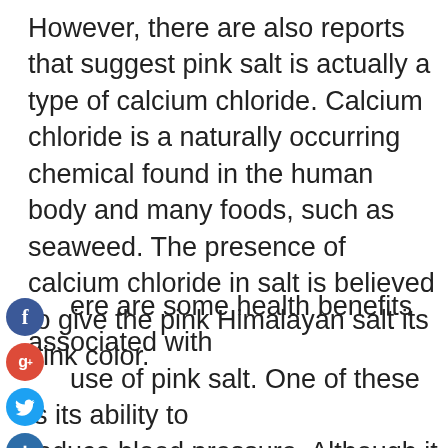However, there are also reports that suggest pink salt is actually a type of calcium chloride. Calcium chloride is a naturally occurring chemical found in the human body and many foods, such as seaweed. The presence of calcium chloride in salt is believed to give the pink Himalayan salt its pink color.
[Figure (other): Social media share icons: Facebook (blue circle with f), Google+ (red circle with g+), Twitter (blue circle with bird), and an add/share button (dark blue circle with plus sign)]
ere are some health benefits associated with use of pink salt. One of these is its ability to reduce blood pressure. Although it does not provide direct proof, it is said to work by slowing wn the release of adrenaline in the body. This means when you take your daily dose of salt (and any other kind), you'll have fewer heart